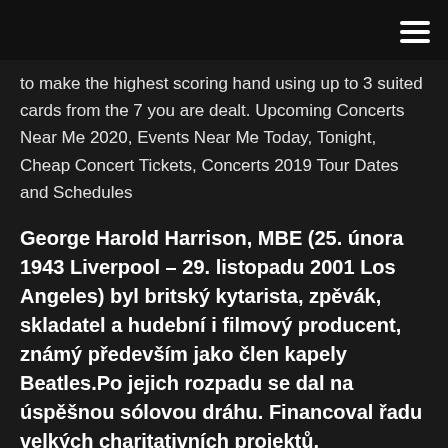☰
to make the highest scoring hand using up to 3 suited cards from the 7 you are dealt. Upcoming Concerts Near Me 2020, Events Near Me Today, Tonight, Cheap Concert Tickets, Concerts 2019 Tour Dates and Schedules
George Harold Harrison, MBE (25. února 1943 Liverpool – 29. listopadu 2001 Los Angeles) byl britský kytarista, zpěvák, skladatel a hudební i filmový producent, známý především jako člen kapely Beatles.Po jejich rozpadu se dal na úspěšnou sólovou dráhu. Financoval řadu velkých charitativních projektů, spolupracoval se skupinou Monty Python, byl členem superskupiny